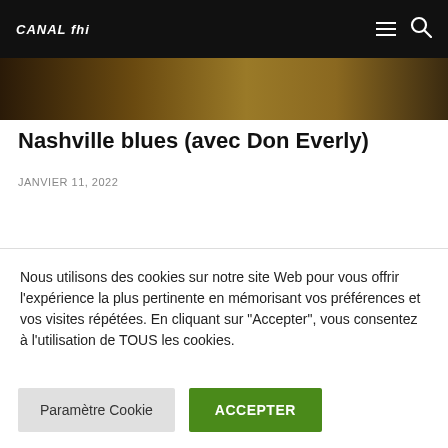CANAL fhi
[Figure (photo): Dark golden/amber colored image strip beneath the navigation bar]
Nashville blues (avec Don Everly)
JANVIER 11, 2022
Nous utilisons des cookies sur notre site Web pour vous offrir l'expérience la plus pertinente en mémorisant vos préférences et vos visites répétées. En cliquant sur "Accepter", vous consentez à l'utilisation de TOUS les cookies.
Paramètre Cookie | ACCEPTER